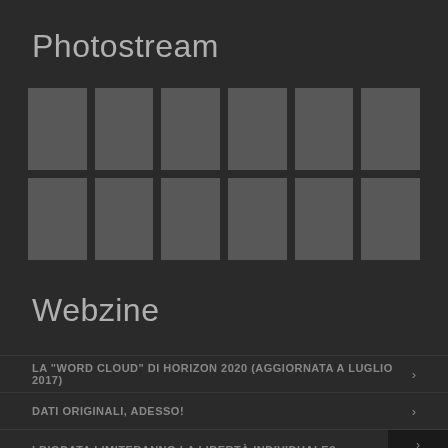Photostream
[Figure (other): A 2-row, 6-column grid of 12 dark grey placeholder photo thumbnails representing a photostream gallery.]
Webzine
LA "WORD CLOUD" DI HORIZON 2020 (AGGIORNATA A LUGLIO 2017) ›
DATI ORIGINALI, ADESSO! ›
I BIGDATA LIMITERANNO LA LIBERTÀ INDIVIDUALE? ›